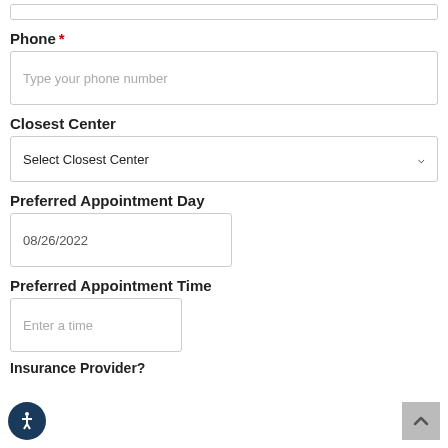Phone *
Type your phone number
Closest Center
Select Closest Center
Preferred Appointment Day
08/26/2022
Preferred Appointment Time
Enter a time
Insurance Provider?